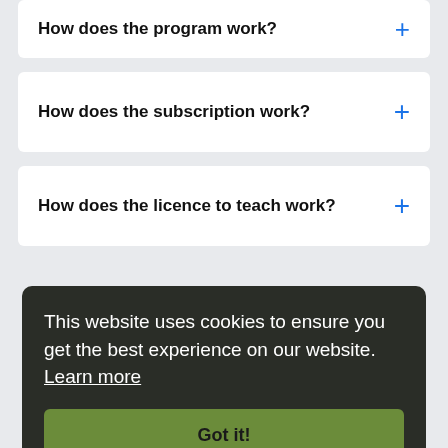How does the program work?
How does the subscription work?
How does the licence to teach work?
This website uses cookies to ensure you get the best experience on our website. Learn more
Got it!